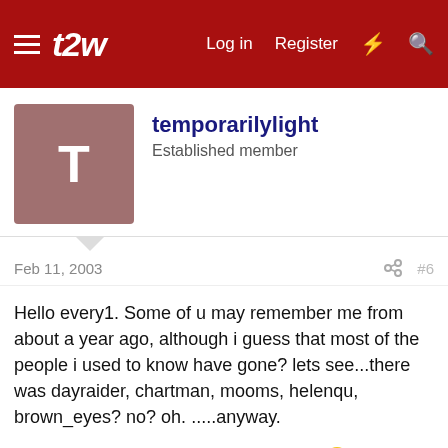t2w — Log in  Register
temporarilylight
Established member
Feb 11, 2003  #6
Hello every1. Some of u may remember me from about a year ago, although i guess that most of the people i used to know have gone? lets see...there was dayraider, chartman, mooms, helenqu, brown_eyes? no? oh. .....anyway.
Just wanted to back up my man raptor 😉. That is some pretty damn vague commentary in the example posted above, but believe me, i subscribe to his site which is where he saves the The 'good stuff' for, and his calls are brilliant.
He posted within 10 points of todays high AND low of which i grabed a nice number of points. Anyways.... i'll be popping back for a time at a time, looks like the site has got a good bottom with...